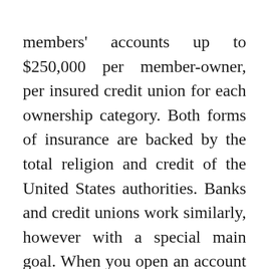members' accounts up to $250,000 per member-owner, per insured credit union for each ownership category. Both forms of insurance are backed by the total religion and credit of the United States authorities. Banks and credit unions work similarly, however with a special main goal. When you open an account and deposit money in a bank, you turn into a buyer.

This LICU status allows the credit unions to benefit from certain NCUA packages to reinforce its capacity to serve underserved populations who might in any other case lack